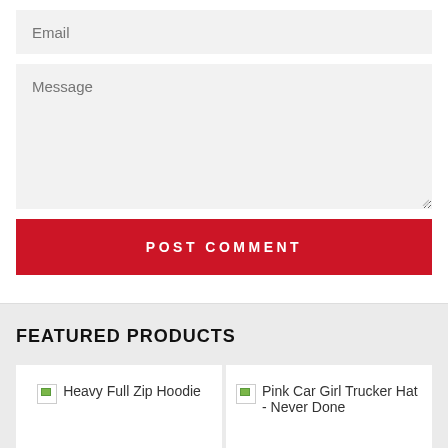[Figure (screenshot): Email input field (form input, light gray background, placeholder text 'Email')]
[Figure (screenshot): Message textarea (form textarea, light gray background, placeholder text 'Message', resize handle at bottom-right)]
POST COMMENT
FEATURED PRODUCTS
[Figure (screenshot): Broken image icon followed by text 'Heavy Full Zip Hoodie' — product card]
[Figure (screenshot): Broken image icon followed by text 'Pink Car Girl Trucker Hat - Never Done' — product card]